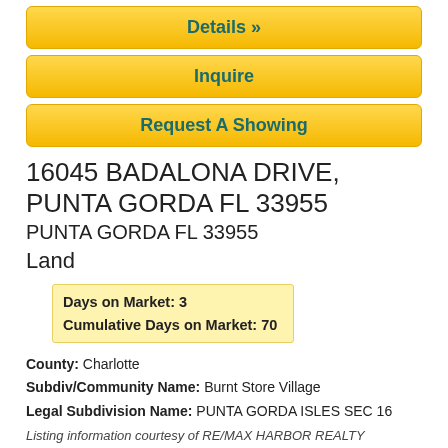Details »
Inquire
Request A Showing
16045 BADALONA DRIVE, PUNTA GORDA FL 33955
PUNTA GORDA FL 33955
Land
Days on Market: 3
Cumulative Days on Market: 70
County: Charlotte
Subdiv/Community Name: Burnt Store Village
Legal Subdivision Name: PUNTA GORDA ISLES SEC 16
Listing information courtesy of RE/MAX HARBOR REALTY
[Figure (photo): Partial sky/clouds photo at bottom of page]